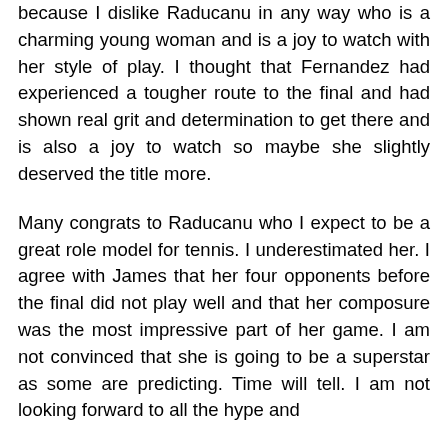because I dislike Raducanu in any way who is a charming young woman and is a joy to watch with her style of play. I thought that Fernandez had experienced a tougher route to the final and had shown real grit and determination to get there and is also a joy to watch so maybe she slightly deserved the title more.
Many congrats to Raducanu who I expect to be a great role model for tennis. I underestimated her. I agree with James that her four opponents before the final did not play well and that her composure was the most impressive part of her game. I am not convinced that she is going to be a superstar as some are predicting. Time will tell. I am not looking forward to all the hype and